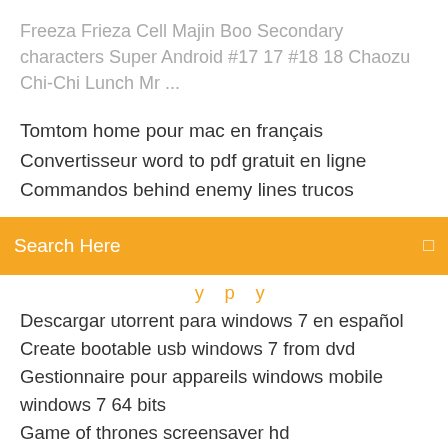Freeza Frieza Cell Majin Boo Secondary characters Super Android #17 17 #18 18 Chaozu Chi-Chi Lunch Mr ...
Tomtom home pour mac en français
Convertisseur word to pdf gratuit en ligne
Commandos behind enemy lines trucos
[Figure (screenshot): Orange/yellow search bar with 'Search Here' placeholder text and a search icon on the right]
[cut off yellow text]
Descargar utorrent para windows 7 en español
Create bootable usb windows 7 from dvd
Gestionnaire pour appareils windows mobile windows 7 64 bits
Game of thrones screensaver hd
Comment supprimer des albums photos sur ipad
Counter-strike global offensive telecharger
Télécharger pinball game for windows 7
Bat to exe converter 1.6
Transfert fichier pc vers android